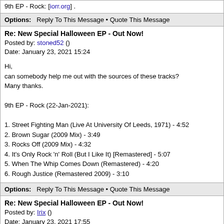9th EP - Rock: [iorr.org] .
Options: Reply To This Message • Quote This Message
Re: New Special Halloween EP - Out Now!
Posted by: stoned52 ()
Date: January 23, 2021 15:24
Hi,
can somebody help me out with the sources of these tracks?
Many thanks.

9th EP - Rock (22-Jan-2021):

1. Street Fighting Man (Live At University Of Leeds, 1971) - 4:52
2. Brown Sugar (2009 Mix) - 3:49
3. Rocks Off (2009 Mix) - 4:32
4. It's Only Rock 'n' Roll (But I Like It) [Remastered] - 5:07
5. When The Whip Comes Down (Remastered) - 4:20
6. Rough Justice (Remastered 2009) - 3:10
Options: Reply To This Message • Quote This Message
Re: New Special Halloween EP - Out Now!
Posted by: Irix ()
Date: January 23, 2021 17:55
Quote
stoned52